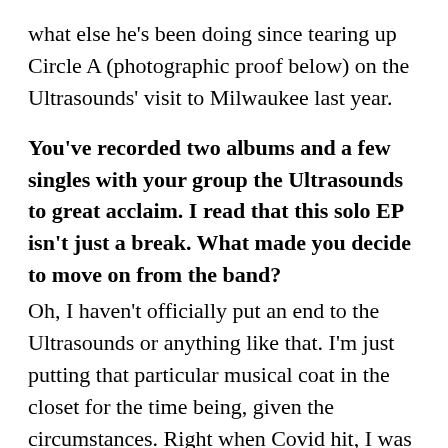what else he's been doing since tearing up Circle A (photographic proof below) on the Ultrasounds' visit to Milwaukee last year.
You've recorded two albums and a few singles with your group the Ultrasounds to great acclaim. I read that this solo EP isn't just a break. What made you decide to move on from the band? Oh, I haven't officially put an end to the Ultrasounds or anything like that. I'm just putting that particular musical coat in the closet for the time being, given the circumstances. Right when Covid hit, I was playing and touring with a few different bands, and it had become easier to tell